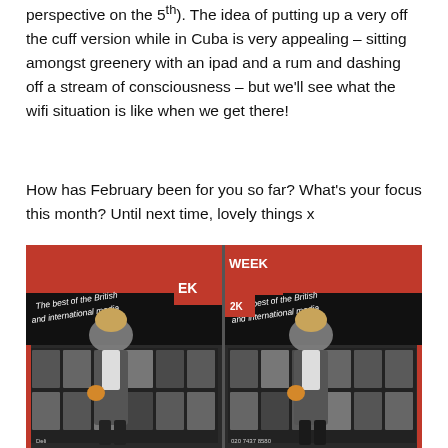perspective on the 5th). The idea of putting up a very off the cuff version while in Cuba is very appealing – sitting amongst greenery with an ipad and a rum and dashing off a stream of consciousness – but we'll see what the wifi situation is like when we get there!
How has February been for you so far? What's your focus this month? Until next time, lovely things x
[Figure (photo): Two side-by-side photos of a woman standing in front of a newsagent shop with signage reading 'The best of the British and international media' and 'WEEK'. The woman wears a long grey check coat over a white top with black trousers and carries an orange bag.]